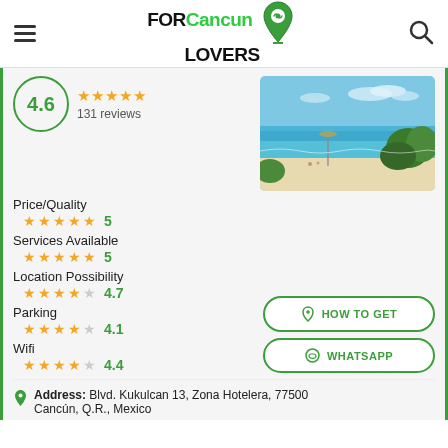FOR Cancun LOVERS
4.6 — 131 reviews
[Figure (photo): Beach scene with turquoise water, white sand, umbrellas, and tropical vegetation under a blue sky]
Price/Quality — 5 stars — 5
Services Available — 5 stars — 5
Location Possibility — 4.5 stars — 4.7
Parking — 4 stars — 4.1
Wifi — 4.5 stars — 4.4
HOW TO GET
WHATSAPP
Address: Blvd. Kukulcan 13, Zona Hotelera, 77500 Cancún, Q.R., Mexico